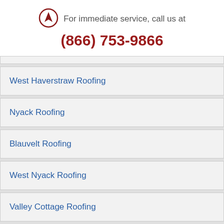[Figure (logo): Circular logo with an arrow/navigation symbol inside, dark red outline]
For immediate service, call us at
(866) 753-9866
West Haverstraw Roofing
Nyack Roofing
Blauvelt Roofing
West Nyack Roofing
Valley Cottage Roofing
Tappan Roofing